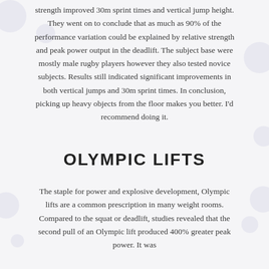strength improved 30m sprint times and vertical jump height. They went on to conclude that as much as 90% of the performance variation could be explained by relative strength and peak power output in the deadlift. The subject base were mostly male rugby players however they also tested novice subjects. Results still indicated significant improvements in both vertical jumps and 30m sprint times. In conclusion, picking up heavy objects from the floor makes you better. I'd recommend doing it.
OLYMPIC LIFTS
The staple for power and explosive development, Olympic lifts are a common prescription in many weight rooms. Compared to the squat or deadlift, studies revealed that the second pull of an Olympic lift produced 400% greater peak power. It was